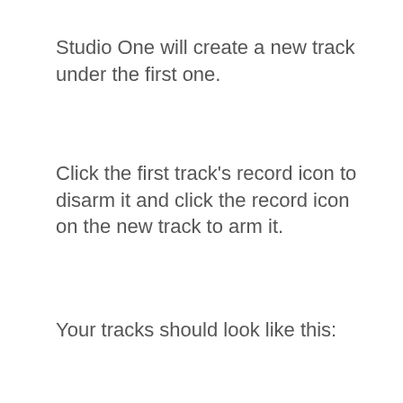Studio One will create a new track under the first one.
Click the first track's record icon to disarm it and click the record icon on the new track to arm it.
Your tracks should look like this: